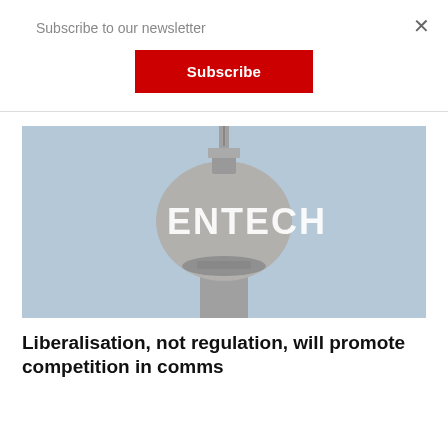Subscribe to our newsletter
Subscribe
[Figure (photo): A telecommunications tower with a spherical observation deck bearing the text 'ENTECH', photographed against a pale blue-grey sky.]
Liberalisation, not regulation, will promote competition in comms